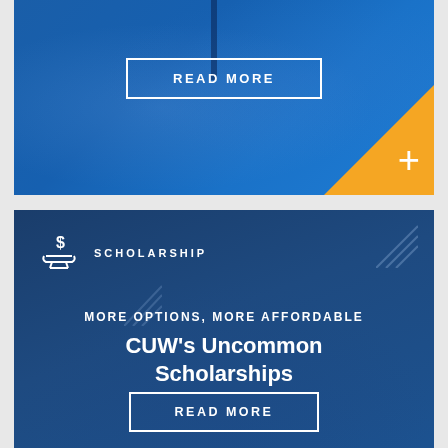[Figure (illustration): Blue-tinted card with a 'READ MORE' button in white border rectangle and an orange triangle corner accent with a plus sign. Background shows a blurred medical/clinical scene.]
[Figure (illustration): Dark navy blue card with scholarship hand-with-dollar-sign icon, 'SCHOLARSHIP' label, diagonal line decorations, heading 'MORE OPTIONS, MORE AFFORDABLE', title 'CUW's Uncommon Scholarships', and a 'READ MORE' button.]